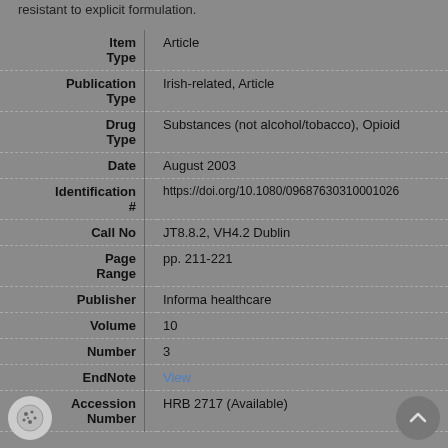resistant to explicit formulation.
| Field |  | Value |
| --- | --- | --- |
| Item Type |  | Article |
| Publication Type |  | Irish-related, Article |
| Drug Type |  | Substances (not alcohol/tobacco), Opioid |
| Date |  | August 2003 |
| Identification # |  | https://doi.org/10.1080/09687630310001026 |
| Call No |  | JT8.8.2, VH4.2 Dublin |
| Page Range |  | pp. 211-221 |
| Publisher |  | Informa healthcare |
| Volume |  | 10 |
| Number |  | 3 |
| EndNote |  | View |
| Accession Number |  | HRB 2717 (Available) |